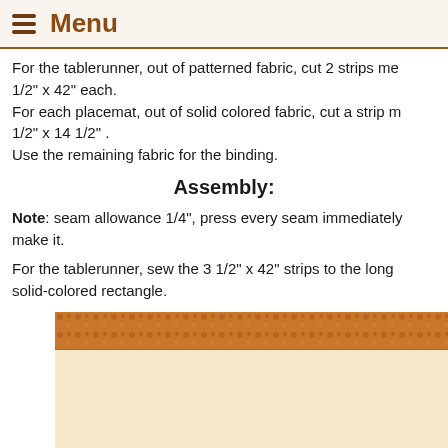Menu
For the tablerunner, out of patterned fabric, cut 2 strips me 1/2" x 42" each.
For each placemat, out of solid colored fabric, cut a strip m 1/2" x 14 1/2" .
Use the remaining fabric for the binding.
Assembly:
Note: seam allowance 1/4", press every seam immediately make it.
For the tablerunner, sew the 3 1/2" x 42" strips to the long solid-colored rectangle.
[Figure (illustration): Diagram showing a patterned fabric strip (orange/brown floral pattern) sewn to the top of a solid cream/beige rectangle, representing the assembly of the tablerunner.]